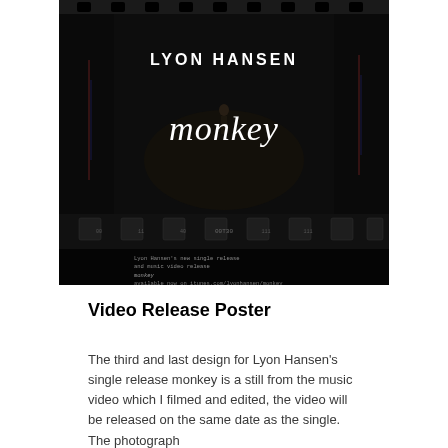[Figure (illustration): A dark/black music video release poster for Lyon Hansen's single 'monkey'. The poster shows a film strip aesthetic with a dark stage scene and a figure performing. The word 'monkey' is written in a white handwritten/script font in the center. 'LYON HANSEN' appears in capital letters at the top. Small text at the bottom includes single and music video release information and a URL: itunes.com/lyonhansen/monkey and www.lyonhansen.com]
Video Release Poster
The third and last design for Lyon Hansen's single release monkey is a still from the music video which I filmed and edited, the video will be released on the same date as the single. The photograph